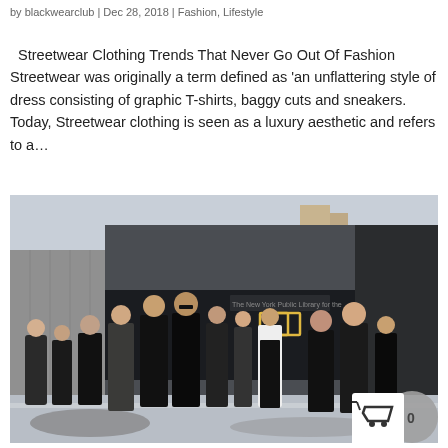by blackwearclub | Dec 28, 2018 | Fashion, Lifestyle
Streetwear Clothing Trends That Never Go Out Of Fashion Streetwear was originally a term defined as 'an unflattering style of dress consisting of graphic T-shirts, baggy cuts and sneakers. Today, Streetwear clothing is seen as a luxury aesthetic and refers to a...
[Figure (photo): Group of people dressed in black streetwear walking outdoors in winter, on a snow-covered sidewalk in front of a building, likely New York City.]